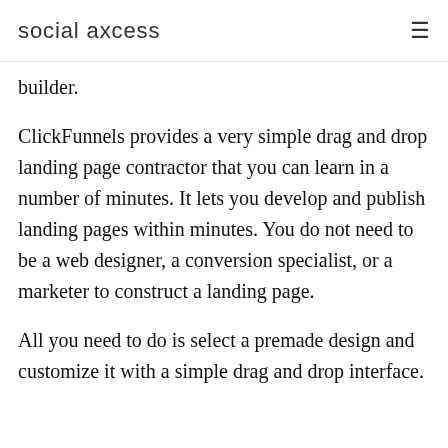social axcess
builder.
ClickFunnels provides a very simple drag and drop landing page contractor that you can learn in a number of minutes. It lets you develop and publish landing pages within minutes. You do not need to be a web designer, a conversion specialist, or a marketer to construct a landing page.
All you need to do is select a premade design and customize it with a simple drag and drop interface.